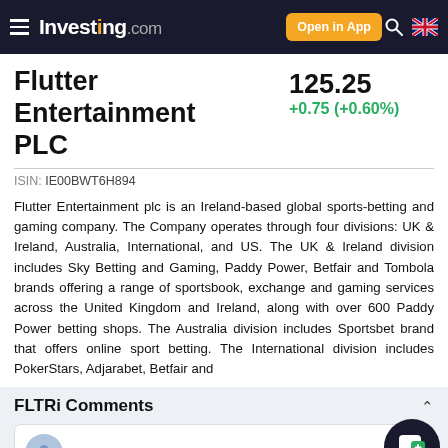Investing.com — Open in App
Flutter Entertainment PLC
125.25 +0.75 (+0.60%)
ISIN: IE00BWT6H894
Flutter Entertainment plc is an Ireland-based global sports-betting and gaming company. The Company operates through four divisions: UK & Ireland, Australia, International, and US. The UK & Ireland division includes Sky Betting and Gaming, Paddy Power, Betfair and Tombola brands offering a range of sportsbook, exchange and gaming services across the United Kingdom and Ireland, along with over 600 Paddy Power betting shops. The Australia division includes Sportsbet brand that offers online sport betting. The International division includes PokerStars, Adjarabet, Betfair and
FLTRi Comments